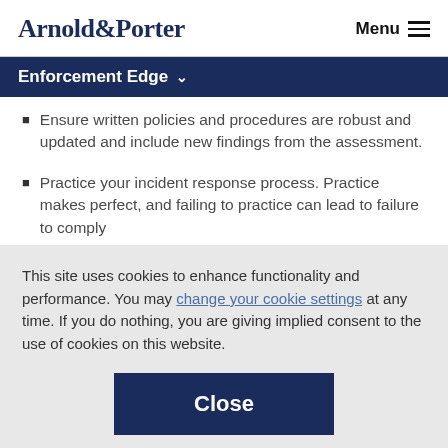Arnold & Porter | Menu
Enforcement Edge
Ensure written policies and procedures are robust and updated and include new findings from the assessment.
Practice your incident response process. Practice makes perfect, and failing to practice can lead to failure to comply
This site uses cookies to enhance functionality and performance. You may change your cookie settings at any time. If you do nothing, you are giving implied consent to the use of cookies on this website.
Close